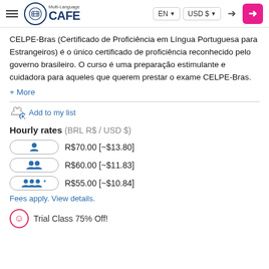Multi-Language CAFE — EN | USD $ — login
CELPE-Bras (Certificado de Proficiência em Língua Portuguesa para Estrangeiros) é o único certificado de proficiência reconhecido pelo governo brasileiro. O curso é uma preparação estimulante e cuidadora para aqueles que querem prestar o exame CELPE-Bras.
+ More
Add to my list
Hourly rates (BRL R$ / USD $)
R$70.00 [~$13.80]
R$60.00 [~$11.83]
R$55.00 [~$10.84]
Fees apply. View details.
Trial Class 75% Off!